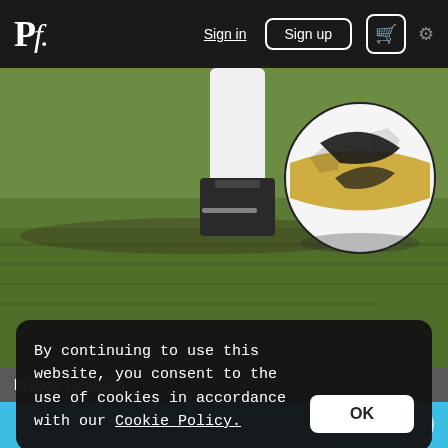Pf. | Sign in | Sign up | Cart | Settings
[Figure (photo): Close-up of a soccer player's feet in cleats next to a Nike soccer ball on a grass field]
by Hans Lundberg
$4.40
[Figure (photo): Blurred red background with abstract shapes, partially visible]
By continuing to use this website, you consent to the use of cookies in accordance with our Cookie Policy.
OK